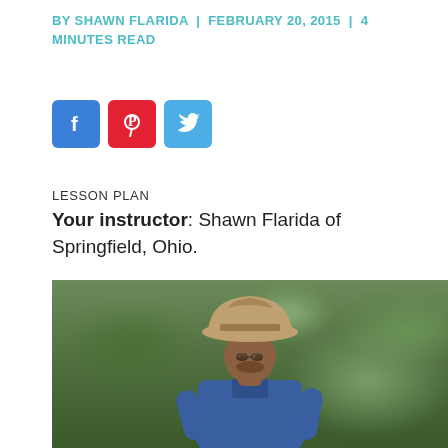BY SHAWN FLARIDA  |  FEBRUARY 20, 2015  |  4 MINUTES READ
[Figure (other): Social sharing icons: Facebook (blue), Pinterest (red), Twitter (blue)]
LESSON PLAN
Your instructor: Shawn Flarida of Springfield, Ohio.
[Figure (photo): A man wearing a beige/tan wide-brim cowboy hat and blue button-up shirt, standing outdoors with blurred green foliage background.]